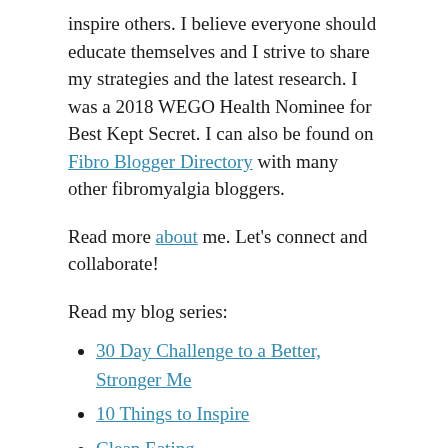inspire others. I believe everyone should educate themselves and I strive to share my strategies and the latest research. I was a 2018 WEGO Health Nominee for Best Kept Secret. I can also be found on Fibro Blogger Directory with many other fibromyalgia bloggers.
Read more about me. Let’s connect and collaborate!
Read my blog series:
30 Day Challenge to a Better, Stronger Me
10 Things to Inspire
Clean Eating